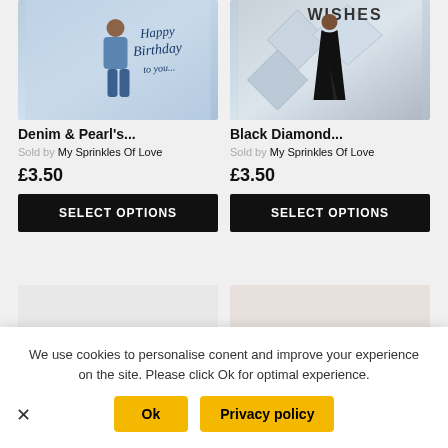[Figure (photo): Product image: greeting card with woman in denim outfit, Happy Birthday to you text on sparkly blue background]
Denim & Pearl's...
Sold by My Sprinkles Of Love
£3.50
SELECT OPTIONS
[Figure (photo): Product image: greeting card with woman in black gown, WISHES text on silver diamond crystal background]
Black Diamond...
Sold by My Sprinkles Of Love
£3.50
SELECT OPTIONS
[Figure (photo): Second row left product image, mostly blank/white]
[Figure (photo): Second row right product image with pink stripe/band visible]
We use cookies to personalise conent and improve your experience on the site. Please click Ok for optimal experience.
Ok
Privacy policy